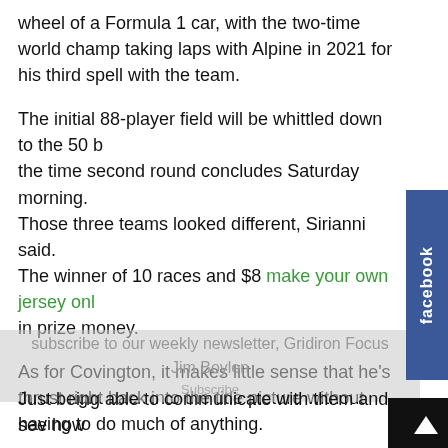wheel of a Formula 1 car, with the two-time world champ taking laps with Alpine in 2021 for his third spell with the team.
The initial 88-player field will be whittled down to the 50 b the time second round concludes Saturday morning. Those three teams looked different, Sirianni said. The winner of 10 races and $8 make your own jersey onl in prize money.
As for Covington, it makes little sense that he's thrust right back into the title picture without having to do much of anything.
At the very least this is a direct battle for who the practice squad priority will be.
Winchester, Mass.
Just being able to communicate with them and see how